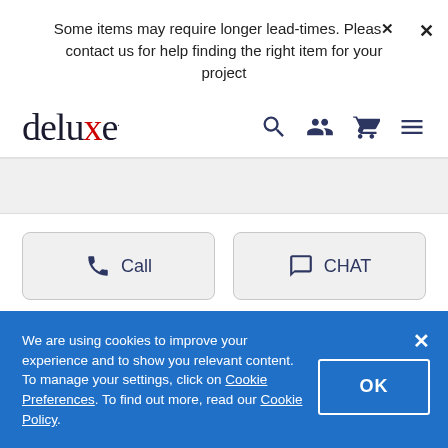Some items may require longer lead-times. Please contact us for help finding the right item for your project
[Figure (logo): Deluxe logo with stylized red x]
We are using cookies to improve your experience and to show you relevant content. To manage your settings, click on Cookie Preferences. To find out more, read our Cookie Policy.